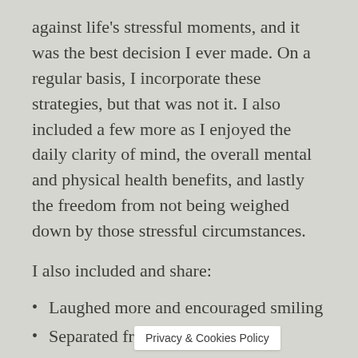against life's stressful moments, and it was the best decision I ever made. On a regular basis, I incorporate these strategies, but that was not it. I also included a few more as I enjoyed the daily clarity of mind, the overall mental and physical health benefits, and lastly the freedom from not being weighed down by those stressful circumstances.
I also included and share:
Laughed more and encouraged smiling
Separated fr… [Privacy & Cookies Policy overlay]